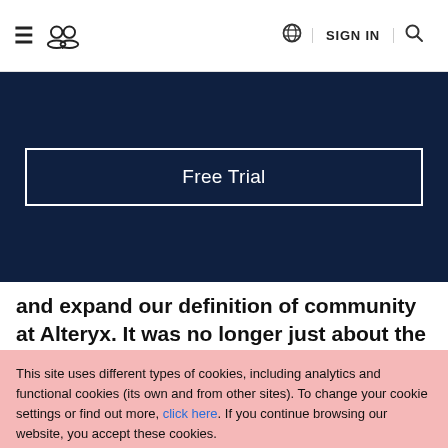≡ [users icon] | 🌐 SIGN IN 🔍
Free Trial
and expand our definition of community at Alteryx. It was no longer just about the online community, but an active ecosystem of
This site uses different types of cookies, including analytics and functional cookies (its own and from other sites). To change your cookie settings or find out more, click here. If you continue browsing our website, you accept these cookies.
I AGREE
LEARN MORE
Reject